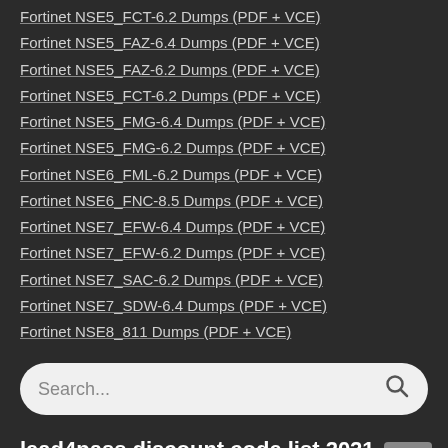Fortinet NSE5_FCT-6.2 Dumps (PDF + VCE)
Fortinet NSE5_FAZ-6.4 Dumps (PDF + VCE)
Fortinet NSE5_FAZ-6.2 Dumps (PDF + VCE)
Fortinet NSE5_FCT-6.2 Dumps (PDF + VCE)
Fortinet NSE5_FMG-6.4 Dumps (PDF + VCE)
Fortinet NSE5_FMG-6.2 Dumps (PDF + VCE)
Fortinet NSE6_FML-6.2 Dumps (PDF + VCE)
Fortinet NSE6_FNC-8.5 Dumps (PDF + VCE)
Fortinet NSE7_EFW-6.4 Dumps (PDF + VCE)
Fortinet NSE7_EFW-6.2 Dumps (PDF + VCE)
Fortinet NSE7_SAC-6.2 Dumps (PDF + VCE)
Fortinet NSE7_SDW-6.4 Dumps (PDF + VCE)
Fortinet NSE8_811 Dumps (PDF + VCE)
lead4pass discount code list 2021-2022